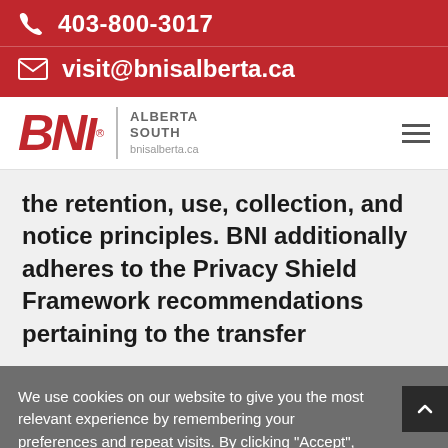403-800-3017
visit@bnisalberta.ca
[Figure (logo): BNI Alberta South logo with red BNI lettering, Alberta South text, and bnisalberta.ca URL]
the retention, use, collection, and notice principles. BNI additionally adheres to the Privacy Shield Framework recommendations pertaining to the transfer
We use cookies on our website to give you the most relevant experience by remembering your preferences and repeat visits. By clicking “Accept”, you consent to the use of ALL the cookies.
Cookie, Privacy, Terms
I Accept
Read our Cookie, Privacy, and Site Terms